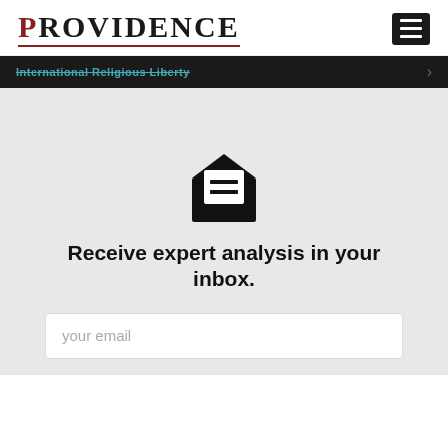PROVIDENCE
International Religious Liberty
[Figure (illustration): Email envelope icon — open envelope with a document/letter visible inside showing two horizontal lines]
Receive expert analysis in your inbox.
your email